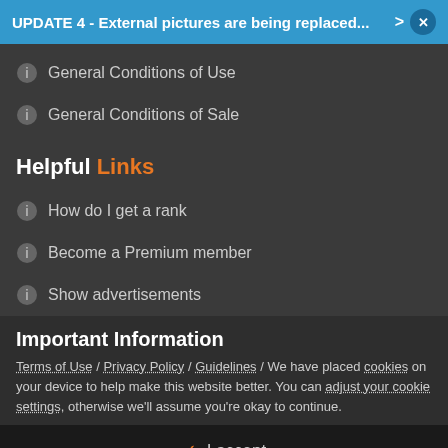UPDATE 4 - External pictures are being replaced... > x
General Conditions of Use
General Conditions of Sale
Helpful Links
How do I get a rank
Become a Premium member
Show advertisements
Important Information
Terms of Use / Privacy Policy / Guidelines / We have placed cookies on your device to help make this website better. You can adjust your cookie settings, otherwise we'll assume you're okay to continue.
I accept